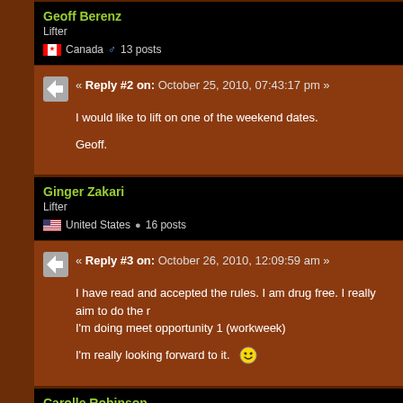Geoff Berenz
Lifter
Canada 13 posts
« Reply #2 on: October 25, 2010, 07:43:17 pm »
I would like to lift on one of the weekend dates.

Geoff.
Ginger Zakari
Lifter
United States 16 posts
« Reply #3 on: October 26, 2010, 12:09:59 am »
I have read and accepted the rules. I am drug free. I really aim to do the I'm doing meet opportunity 1 (workweek)

I'm really looking forward to it.
Carolle Robinson
Lifter